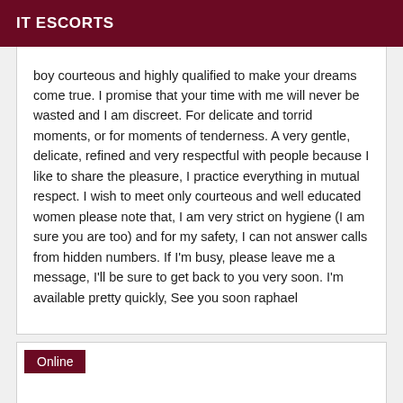IT ESCORTS
boy courteous and highly qualified to make your dreams come true. I promise that your time with me will never be wasted and I am discreet. For delicate and torrid moments, or for moments of tenderness. A very gentle, delicate, refined and very respectful with people because I like to share the pleasure, I practice everything in mutual respect. I wish to meet only courteous and well educated women please note that, I am very strict on hygiene (I am sure you are too) and for my safety, I can not answer calls from hidden numbers. If I'm busy, please leave me a message, I'll be sure to get back to you very soon. I'm available pretty quickly, See you soon raphael
Online